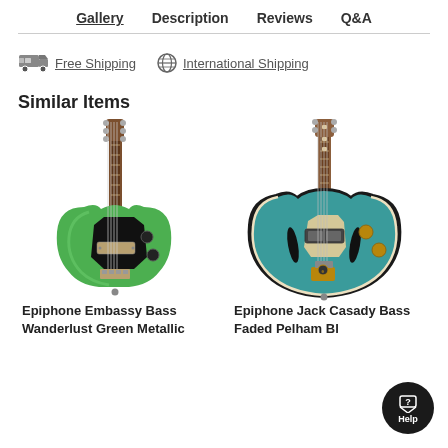Gallery   Description   Reviews   Q&A
🚚 Free Shipping   🌐 International Shipping
Similar Items
[Figure (photo): Epiphone Embassy Bass Wanderlust Green Metallic electric bass guitar, green body with black pickguard and brown neck]
Epiphone Embassy Bass Wanderlust Green Metallic
[Figure (photo): Epiphone Jack Casady Bass Faded Pelham Blue semi-hollow body electric bass guitar, teal/blue body]
Epiphone Jack Casady Bass Faded Pelham Bl...